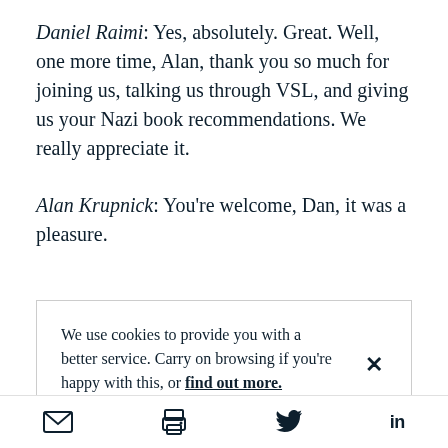Daniel Raimi: Yes, absolutely. Great. Well, one more time, Alan, thank you so much for joining us, talking us through VSL, and giving us your Nazi book recommendations. We really appreciate it.
Alan Krupnick: You're welcome, Dan, it was a pleasure.
We use cookies to provide you with a better service. Carry on browsing if you're happy with this, or find out more.
email | print | twitter | linkedin